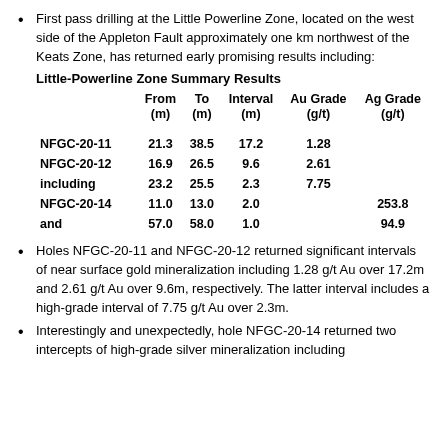First pass drilling at the Little Powerline Zone, located on the west side of the Appleton Fault approximately one km northwest of the Keats Zone, has returned early promising results including:
Little-Powerline Zone Summary Results
|  | From (m) | To (m) | Interval (m) | Au Grade (g/t) | Ag Grade (g/t) |
| --- | --- | --- | --- | --- | --- |
| NFGC-20-11 | 21.3 | 38.5 | 17.2 | 1.28 |  |
| NFGC-20-12 | 16.9 | 26.5 | 9.6 | 2.61 |  |
| including | 23.2 | 25.5 | 2.3 | 7.75 |  |
| NFGC-20-14 | 11.0 | 13.0 | 2.0 |  | 253.8 |
| and | 57.0 | 58.0 | 1.0 |  | 94.9 |
Holes NFGC-20-11 and NFGC-20-12 returned significant intervals of near surface gold mineralization including 1.28 g/t Au over 17.2m and 2.61 g/t Au over 9.6m, respectively. The latter interval includes a high-grade interval of 7.75 g/t Au over 2.3m.
Interestingly and unexpectedly, hole NFGC-20-14 returned two intercepts of high-grade silver mineralization including